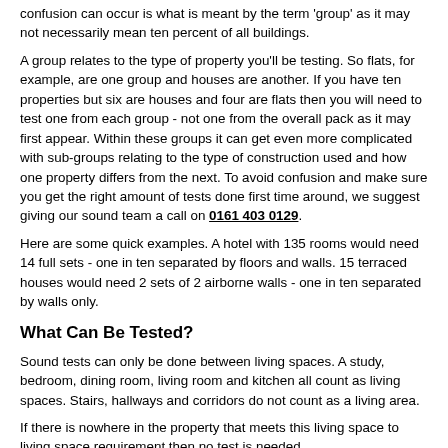confusion can occur is what is meant by the term 'group' as it may not necessarily mean ten percent of all buildings.
A group relates to the type of property you'll be testing. So flats, for example, are one group and houses are another. If you have ten properties but six are houses and four are flats then you will need to test one from each group - not one from the overall pack as it may first appear. Within these groups it can get even more complicated with sub-groups relating to the type of construction used and how one property differs from the next. To avoid confusion and make sure you get the right amount of tests done first time around, we suggest giving our sound team a call on 0161 403 0129.
Here are some quick examples. A hotel with 135 rooms would need 14 full sets - one in ten separated by floors and walls. 15 terraced houses would need 2 sets of 2 airborne walls - one in ten separated by walls only.
What Can Be Tested?
Sound tests can only be done between living spaces. A study, bedroom, dining room, living room and kitchen all count as living spaces. Stairs, hallways and corridors do not count as a living area.
If there is nowhere in the property that meets this living space to living space requirement then no test is needed.
In July 2003, the new Approved Document E 'Resistance to the Passage of Sound' (ADE 2003) of the Building Regulations came into force across the UK, including Leyland. This requires that new residential properties and rooms for residential purposes be sound tested (or "pre-completion tested") to demonstrate compliance with the explicit sound insulation performance requirements of ADE 2003.